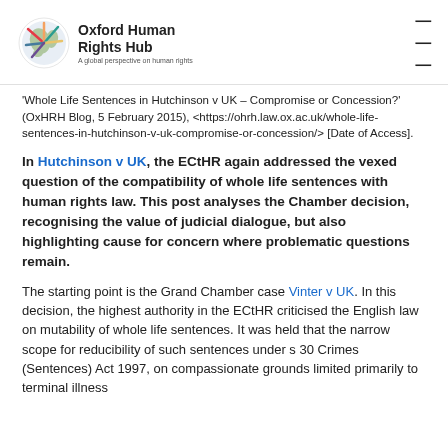Oxford Human Rights Hub — A global perspective on human rights
'Whole Life Sentences in Hutchinson v UK – Compromise or Concession?' (OxHRH Blog, 5 February 2015), <https://ohrh.law.ox.ac.uk/whole-life-sentences-in-hutchinson-v-uk-compromise-or-concession/> [Date of Access].
In Hutchinson v UK, the ECtHR again addressed the vexed question of the compatibility of whole life sentences with human rights law. This post analyses the Chamber decision, recognising the value of judicial dialogue, but also highlighting cause for concern where problematic questions remain.
The starting point is the Grand Chamber case Vinter v UK. In this decision, the highest authority in the ECtHR criticised the English law on mutability of whole life sentences. It was held that the narrow scope for reducibility of such sentences under s 30 Crimes (Sentences) Act 1997, on compassionate grounds limited primarily to terminal illness